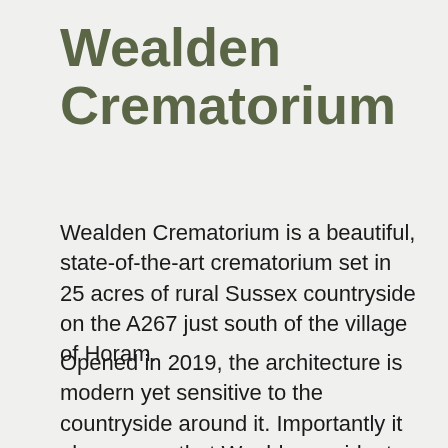Wealden Crematorium
Wealden Crematorium is a beautiful, state-of-the-art crematorium set in 25 acres of rural Sussex countryside on the A267 just south of the village of Horam.
Opened in 2019, the architecture is modern yet sensitive to the countryside around it. Importantly it also means that Wealden residents no longer need to leave the district for cremation. Surrounded by glorious wildflower meadows, woodland and pasture with